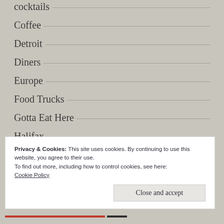cocktails
Coffee
Detroit
Diners
Europe
Food Trucks
Gotta Eat Here
Halifax
Lists
Memphis
Privacy & Cookies: This site uses cookies. By continuing to use this website, you agree to their use.
To find out more, including how to control cookies, see here:
Cookie Policy
Close and accept